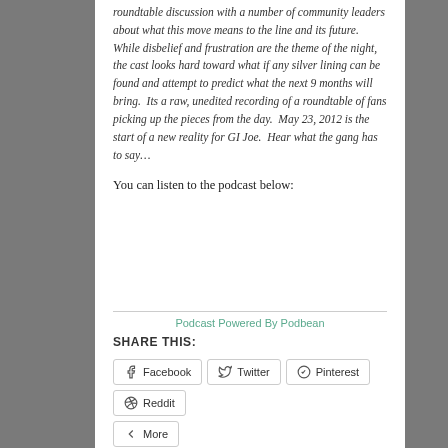roundtable discussion with a number of community leaders about what this move means to the line and its future.  While disbelief and frustration are the theme of the night, the cast looks hard toward what if any silver lining can be found and attempt to predict what the next 9 months will bring.  Its a raw, unedited recording of a roundtable of fans picking up the pieces from the day.  May 23, 2012 is the start of a new reality for GI Joe.  Hear what the gang has to say…
You can listen to the podcast below:
[Figure (other): Embedded podcast player area (blank/white space with Podbean attribution link)]
Podcast Powered By Podbean
SHARE THIS:
Facebook
Twitter
Pinterest
Reddit
More